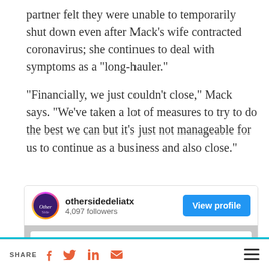partner felt they were unable to temporarily shut down even after Mack’s wife contracted coronavirus; she continues to deal with symptoms as a “long-hauler.”
“Financially, we just couldn’t close,” Mack says. “We’ve taken a lot of measures to try to do the best we can but it’s just not manageable for us to continue as a business and also close.”
[Figure (screenshot): Embedded Instagram/social media profile card for 'othersidedeliatx' with 4,097 followers, a 'View profile' button, and a post excerpt reading 'As yall know, things are weird right now. We’re open, making sandwiches and doing']
SHARE [Facebook] [Twitter] [LinkedIn] [Email] [Menu]